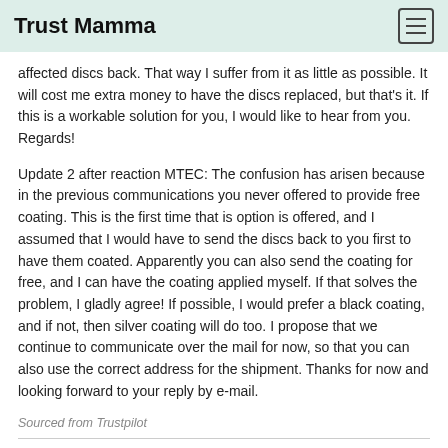Trust Mamma
affected discs back. That way I suffer from it as little as possible. It will cost me extra money to have the discs replaced, but that's it. If this is a workable solution for you, I would like to hear from you. Regards!
Update 2 after reaction MTEC: The confusion has arisen because in the previous communications you never offered to provide free coating. This is the first time that is option is offered, and I assumed that I would have to send the discs back to you first to have them coated. Apparently you can also send the coating for free, and I can have the coating applied myself. If that solves the problem, I gladly agree! If possible, I would prefer a black coating, and if not, then silver coating will do too. I propose that we continue to communicate over the mail for now, so that you can also use the correct address for the shipment. Thanks for now and looking forward to your reply by e-mail.
Sourced from Trustpilot